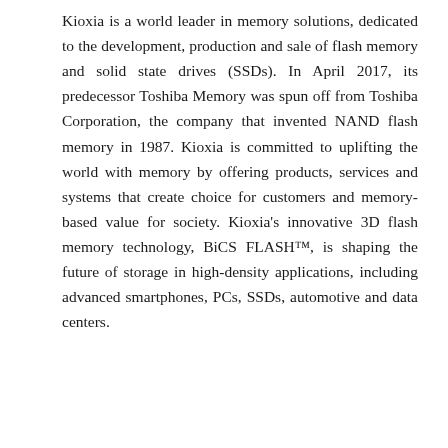Kioxia is a world leader in memory solutions, dedicated to the development, production and sale of flash memory and solid state drives (SSDs). In April 2017, its predecessor Toshiba Memory was spun off from Toshiba Corporation, the company that invented NAND flash memory in 1987. Kioxia is committed to uplifting the world with memory by offering products, services and systems that create choice for customers and memory-based value for society. Kioxia's innovative 3D flash memory technology, BiCS FLASH™, is shaping the future of storage in high-density applications, including advanced smartphones, PCs, SSDs, automotive and data centers.